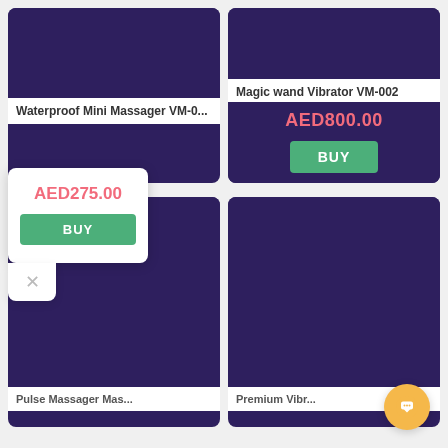[Figure (screenshot): Product card top-left: Waterproof Mini Massager VM-0... with dark purple image area]
Waterproof Mini Massager VM-0...
[Figure (screenshot): Product card top-right: Magic wand Vibrator VM-002 with dark purple image area]
Magic wand Vibrator VM-002
[Figure (screenshot): Popup overlay showing AED275.00 price and BUY button for left card]
AED275.00
BUY
AED800.00
BUY
[Figure (screenshot): Bottom-left product card with dark purple image area, partially showing product name]
[Figure (screenshot): Bottom-right product card with dark purple image area]
[Figure (infographic): Chat bubble floating action button (gold/yellow circle with speech bubble icon)]